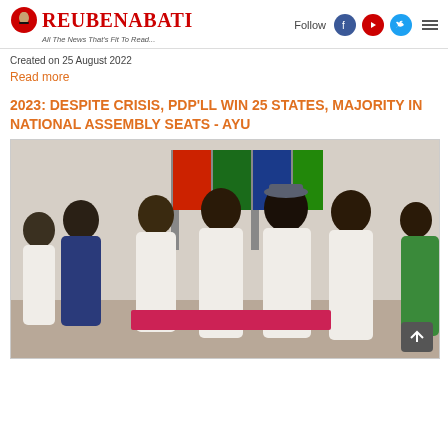ReubenAbati — All The News That's Fit To Read...
Created on 25 August 2022
Read more
2023: DESPITE CRISIS, PDP'LL WIN 25 STATES, MAJORITY IN NATIONAL ASSEMBLY SEATS - AYU
[Figure (photo): Group of Nigerian politicians in white attire standing together indoors with flags in the background]